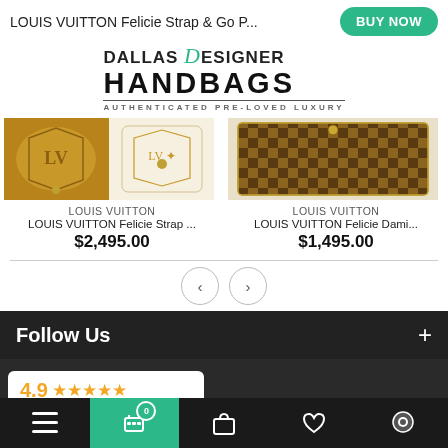LOUIS VUITTON Felicie Strap & Go P...
[Figure (logo): Dallas Designer Handbags logo with script D, bold HANDBAGS text and 'AUTHENTICATED PRE-LOVED LUXURY' tagline]
[Figure (photo): LOUIS VUITTON Felicie Strap product image - LV monogram pattern bag]
LOUIS VUITTON
LOUIS VUITTON Felicie Strap ...
$2,495.00
[Figure (photo): LOUIS VUITTON Felicie Damier product image - Damier Ebene pattern wallet]
LOUIS VUITTON
LOUIS VUITTON Felicie Dami...
$1,495.00
Follow Us
[Figure (other): Google Customer Reviews widget showing 4.9 star rating with 5 orange stars]
Bottom navigation bar with menu, cart (0 items), bag, heart, and chat icons